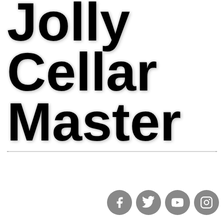Jolly Cellar Master
[Figure (other): Horizontal dotted divider line]
[Figure (other): Hamburger menu button with three horizontal lines]
[Figure (other): Four circular social media icons: Facebook, Twitter, YouTube, Instagram]